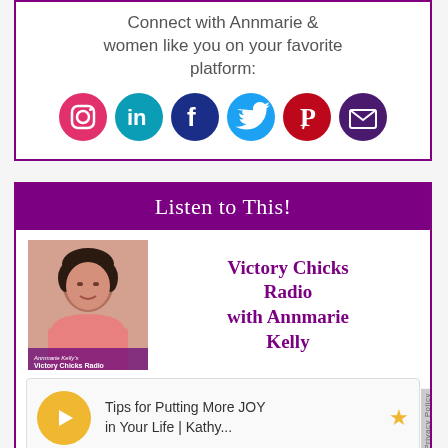Connect with Annmarie & women like you on your favorite platform:
[Figure (infographic): Row of six social media icons: Instagram (pink/red circle), LinkedIn (teal circle), Facebook (dark blue circle), Twitter (light blue circle), Pinterest (red circle), Email (dark purple circle)]
Listen to This!
[Figure (photo): Photo of Annmarie Kelly with 'Victory Chicks Radio' text overlay, woman with short dark hair smiling, wearing pink/salmon top]
Victory Chicks Radio with Annmarie Kelly
[Figure (infographic): Podcast player widget showing a yellow play button and text 'Tips for Putting More JOY in Your Life | Kathy...' with a gold star icon]
Privacy Policy